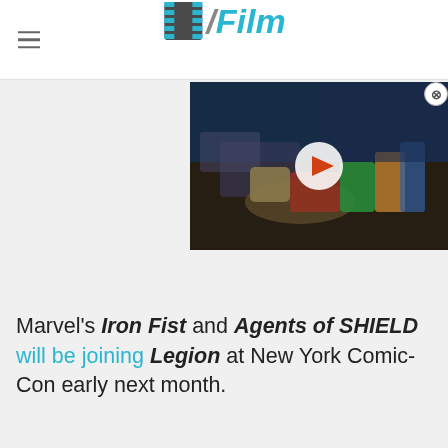/Film
[Figure (screenshot): Video player thumbnail showing colorful action figures/toys on a table with a play button overlay, dark background]
Marvel's Iron Fist and Agents of SHIELD will be joining Legion at New York Comic-Con early next month.